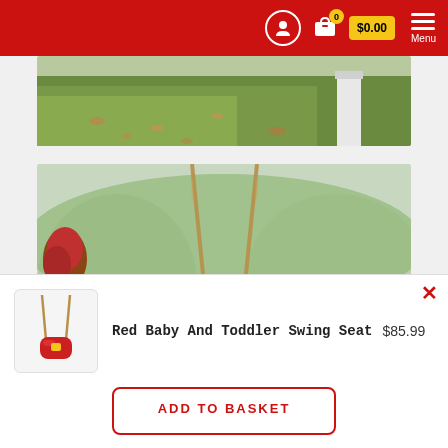Navigation header with user icon, cart ($0.00), and Menu button
[Figure (photo): Top portion of outdoor park scene with green grass, fallen leaves, and a white concrete post]
[Figure (photo): A young Asian girl with pigtails sitting on a red swing seat with rope, outdoors with trees and yellow flowers in background]
[Figure (photo): Small product thumbnail of Red Baby And Toddler Swing Seat - red bucket swing with rope]
Red Baby And Toddler Swing Seat  $85.99
ADD TO BASKET